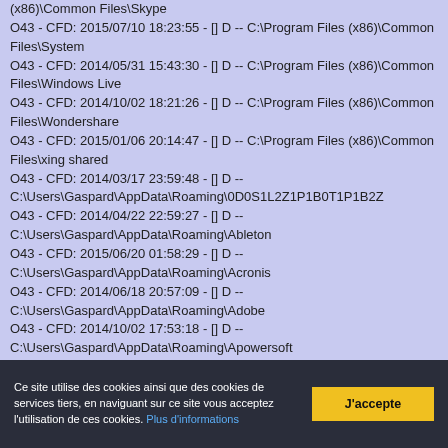(x86)\Common Files\Skype
O43 - CFD: 2015/07/10 18:23:55 - [] D -- C:\Program Files (x86)\Common Files\System
O43 - CFD: 2014/05/31 15:43:30 - [] D -- C:\Program Files (x86)\Common Files\Windows Live
O43 - CFD: 2014/10/02 18:21:26 - [] D -- C:\Program Files (x86)\Common Files\Wondershare
O43 - CFD: 2015/01/06 20:14:47 - [] D -- C:\Program Files (x86)\Common Files\xing shared
O43 - CFD: 2014/03/17 23:59:48 - [] D -- C:\Users\Gaspard\AppData\Roaming\0D0S1L2Z1P1B0T1P1B2Z
O43 - CFD: 2014/04/22 22:59:27 - [] D -- C:\Users\Gaspard\AppData\Roaming\Ableton
O43 - CFD: 2015/06/20 01:58:29 - [] D -- C:\Users\Gaspard\AppData\Roaming\Acronis
O43 - CFD: 2014/06/18 20:57:09 - [] D -- C:\Users\Gaspard\AppData\Roaming\Adobe
O43 - CFD: 2014/10/02 17:53:18 - [] D -- C:\Users\Gaspard\AppData\Roaming\Apowersoft
Ce site utilise des cookies ainsi que des cookies de services tiers, en naviguant sur ce site vous acceptez l'utilisation de ces cookies. Plus d'informations
J'accepte